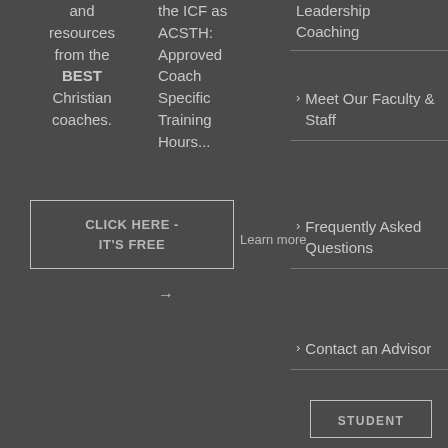and resources from the BEST Christian coaches.
the ICF as ACSTH: Approved Coach Specific Training Hours...
Leadership Coaching
Meet Our Faculty & Staff
Frequently Asked Questions
Contact an Advisor
CLICK HERE - IT'S FREE  Learn more →
STUDENT